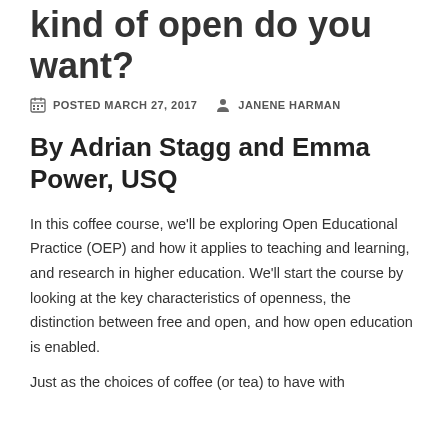kind of open do you want?
POSTED MARCH 27, 2017   JANENE HARMAN
By Adrian Stagg and Emma Power, USQ
In this coffee course, we'll be exploring Open Educational Practice (OEP) and how it applies to teaching and learning, and research in higher education.  We'll start the course by looking at the key characteristics of openness, the distinction between free and open, and how open education is enabled.
Just as the choices of coffee (or tea) to have with